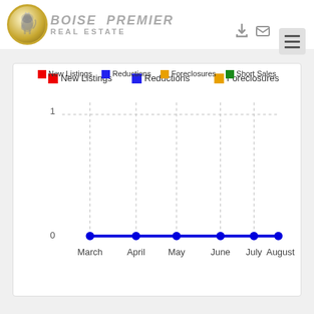[Figure (logo): Boise Premier Real Estate logo with gold lion medallion]
[Figure (line-chart): Real Estate Activity: March–August]